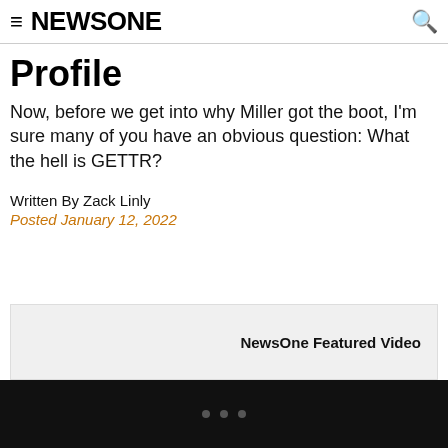≡ NEWSONE 🔍
Profile
Now, before we get into why Miller got the boot, I'm sure many of you have an obvious question: What the hell is GETTR?
Written By Zack Linly
Posted January 12, 2022
[Figure (other): NewsOne Featured Video box - light gray box with label 'NewsOne Featured Video' on the right side]
[Figure (other): Black navigation bar at bottom with three gray dots (pagination indicators)]